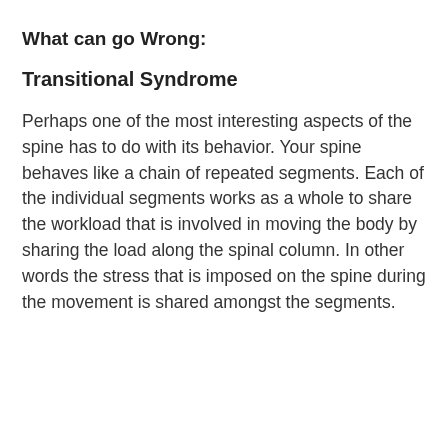What can go Wrong:
Transitional Syndrome
Perhaps one of the most interesting aspects of the spine has to do with its behavior. Your spine behaves like a chain of repeated segments. Each of the individual segments works as a whole to share the workload that is involved in moving the body by sharing the load along the spinal column. In other words the stress that is imposed on the spine during the movement is shared amongst the segments.